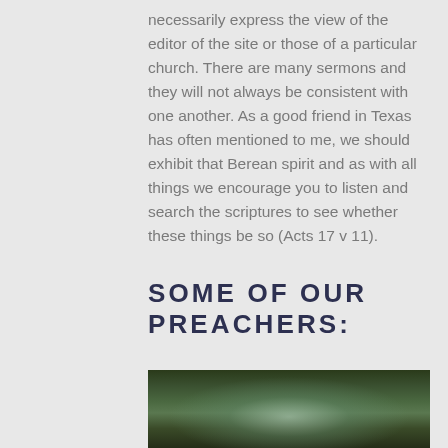necessarily express the view of the editor of the site or those of a particular church. There are many sermons and they will not always be consistent with one another. As a good friend in Texas has often mentioned to me, we should exhibit that Berean spirit and as with all things we encourage you to listen and search the scriptures to see whether these things be so (Acts 17 v 11).
SOME OF OUR PREACHERS:
[Figure (photo): Partially visible photograph showing a blurred outdoor scene, possibly a person in front of green foliage.]